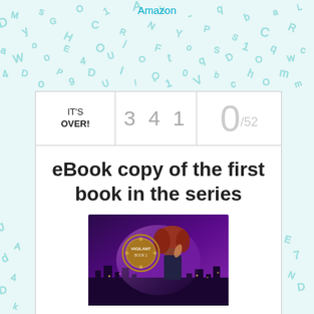Amazon
[Figure (illustration): Background of scattered teal/cyan handwritten letters and characters on a light blue-white background]
| IT'S OVER! | 3 4 1 | 0/52 |
| --- | --- | --- |
eBook copy of the first book in the series
[Figure (photo): Book cover for 'Vigilant Book 1' showing a woman with curly red hair in a dark corset outfit against a purple city skyline background, with a decorative circular gold emblem]